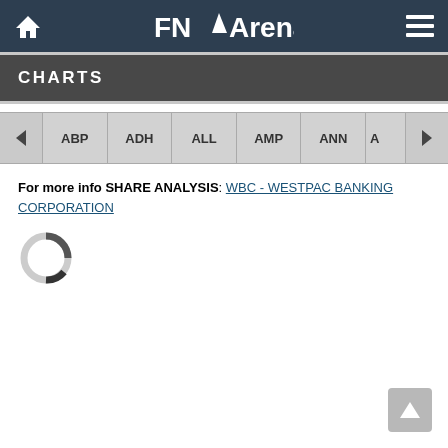FNArena
CHARTS
For more info SHARE ANALYSIS: WBC - WESTPAC BANKING CORPORATION
[Figure (other): Loading spinner / circular progress indicator]
[Figure (other): Scroll to top button with upward arrow]